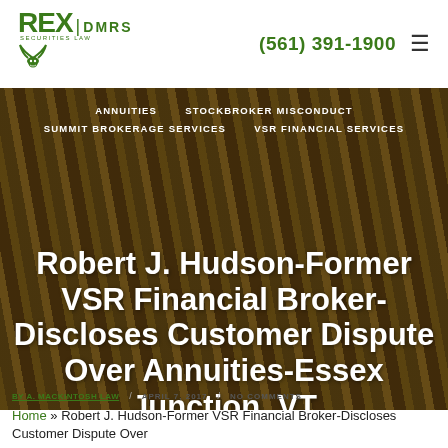[Figure (logo): REX DMRS law firm logo with green text and longhorn skull icon]
(561) 391-1900
[Figure (photo): Background photo of woven textile/rope materials in brown and gold tones with dark overlay]
ANNUITIES   STOCKBROKER MISCONDUCT
SUMMIT BROKERAGE SERVICES   VSR FINANCIAL SERVICES
Robert J. Hudson-Former VSR Financial Broker-Discloses Customer Dispute Over Annuities-Essex Junction, VT
BY A. MACKINTOSH LAW / APRIL 7, 2017 / NO COMMENTS
Home » Robert J. Hudson-Former VSR Financial Broker-Discloses Customer Dispute Over